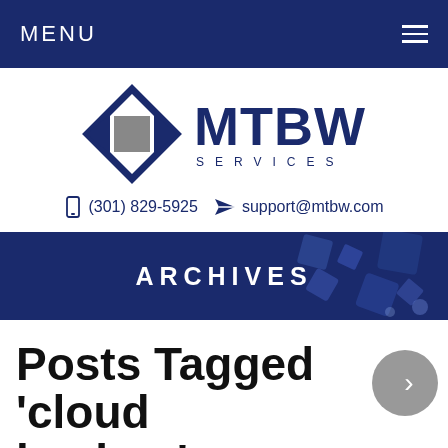MENU
[Figure (logo): MTBW Services logo with diamond/eye icon and stylized MTBW lettering above SERVICES]
(301) 829-5925   support@mtbw.com
ARCHIVES
Posts Tagged 'cloud backup'